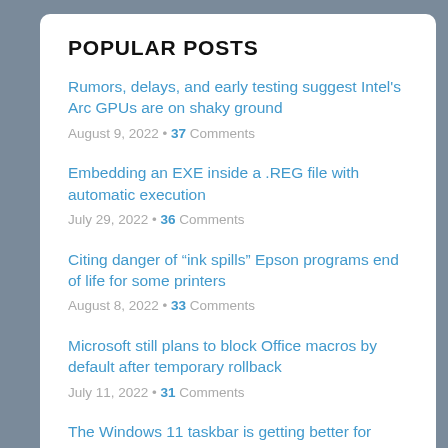POPULAR POSTS
Rumors, delays, and early testing suggest Intel's Arc GPUs are on shaky ground
August 9, 2022 • 37 Comments
Embedding an EXE inside a .REG file with automatic execution
July 29, 2022 • 36 Comments
Citing danger of "ink spills" Epson programs end of life for some printers
August 8, 2022 • 33 Comments
Microsoft still plans to block Office macros by default after temporary rollback
July 11, 2022 • 31 Comments
The Windows 11 taskbar is getting better for people who open tons of apps